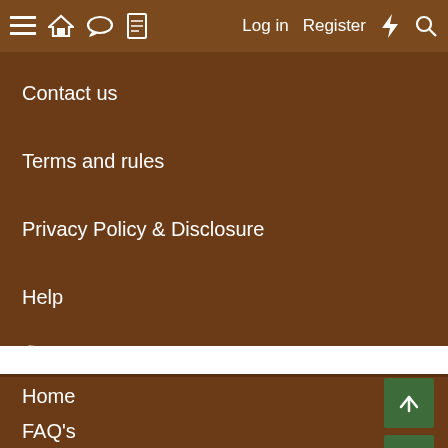≡  🏠  💬  📄   Log in   Register  ⚡  🔍
Contact us
Terms and rules
Privacy Policy & Disclosure
Help
[Figure (other): RSS feed icon]
Home
FAQ's
Articles
About BYC
|